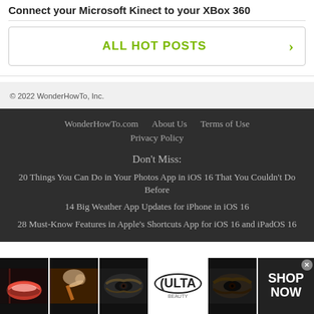Connect your Microsoft Kinect to your XBox 360
ALL HOT POSTS ›
© 2022 WonderHowTo, Inc.
WonderHowTo.com   About Us   Terms of Use   Privacy Policy
Don't Miss:
20 Things You Can Do in Your Photos App in iOS 16 That You Couldn't Do Before
14 Big Weather App Updates for iPhone in iOS 16
28 Must-Know Features in Apple's Shortcuts App for iOS 16 and iPadOS 16
[Figure (photo): Advertisement banner for ULTA beauty with makeup images and SHOP NOW call to action]